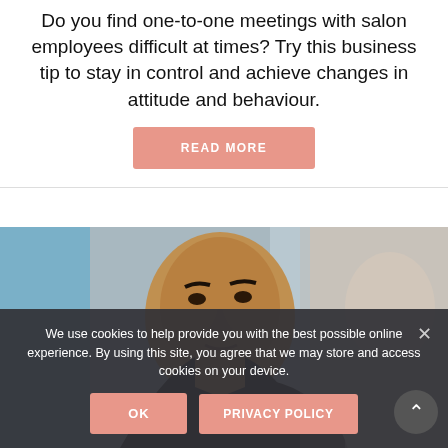Do you find one-to-one meetings with salon employees difficult at times? Try this business tip to stay in control and achieve changes in attitude and behaviour.
[Figure (other): READ MORE button — salmon/pink rounded rectangle button with white uppercase text]
[Figure (photo): Photo of a man with short hair looking at the camera, with a blurred woman in the background]
We use cookies to help provide you with the best possible online experience. By using this site, you agree that we may store and access cookies on your device.
[Figure (other): OK button and PRIVACY POLICY button — salmon/pink rounded rectangle buttons with white uppercase text]